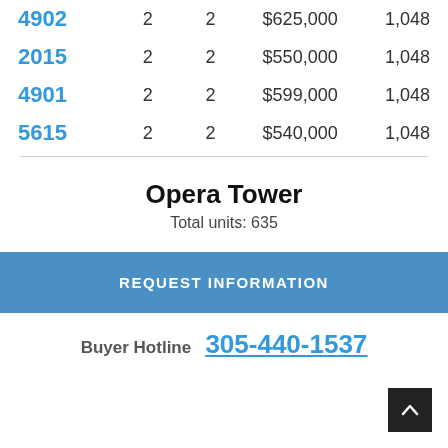| Unit | Bed | Bath | Price | Sq Ft |
| --- | --- | --- | --- | --- |
| 4902 | 2 | 2 | $625,000 | 1,048 |
| 2015 | 2 | 2 | $550,000 | 1,048 |
| 4901 | 2 | 2 | $599,000 | 1,048 |
| 5615 | 2 | 2 | $540,000 | 1,048 |
Opera Tower
Total units: 635
REQUEST INFORMATION
Buyer Hotline 305-440-1537